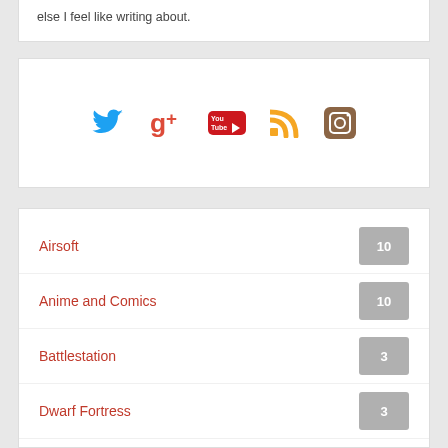else I feel like writing about.
[Figure (infographic): Social media icons: Twitter (blue bird), Google+ (red), YouTube (red), RSS (orange), Instagram (brown camera)]
Airsoft 10
Anime and Comics 10
Battlestation 3
Dwarf Fortress 3
Final Fantasy 17
Final Fantasy Record Keeper 23